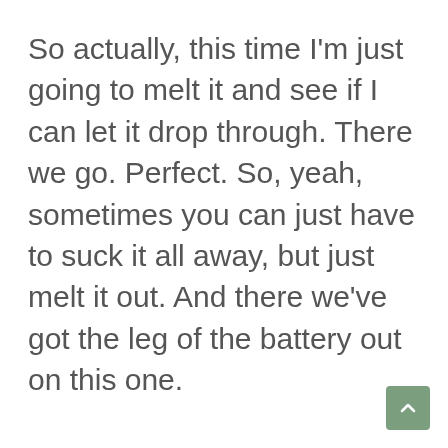So actually, this time I'm just going to melt it and see if I can let it drop through. There we go. Perfect. So, yeah, sometimes you can just have to suck it all away, but just melt it out. And there we've got the leg of the battery out on this one.